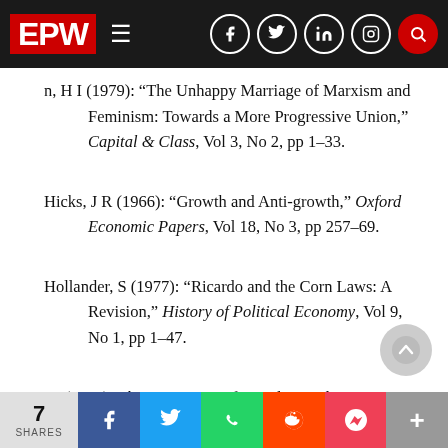EPW navigation bar
n, H I (1979): “The Unhappy Marriage of Marxism and Feminism: Towards a More Progressive Union,” Capital & Class, Vol 3, No 2, pp 1–33.
Hicks, J R (1966): “Growth and Anti-growth,” Oxford Economic Papers, Vol 18, No 3, pp 257–69.
Hollander, S (1977): “Ricardo and the Corn Laws: A Revision,” History of Political Economy, Vol 9, No 1, pp 1–47.
— (1979): The Economics of David Ricardo, Heinemann Educational Publishers.
Kirzner, I M (1989): “Economic Harmony,” John Eatwe…
7 SHARES | Facebook | Twitter | WhatsApp | Reddit | Pocket | More